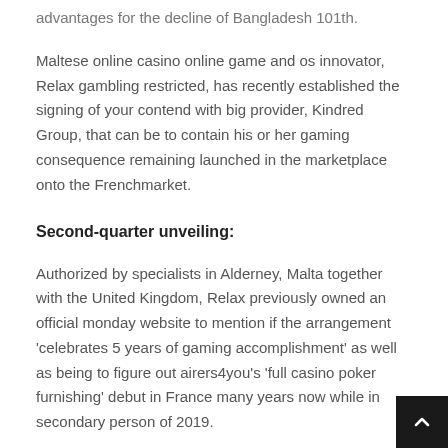advantages for the decline of Bangladesh 101th.
Maltese online casino online game and os innovator, Relax gambling restricted, has recently established the signing of your contend with big provider, Kindred Group, that can be to contain his or her gaming consequence remaining launched in the marketplace onto the Frenchmarket.
Second-quarter unveiling:
Authorized by specialists in Alderney, Malta together with the United Kingdom, Relax previously owned an official monday website to mention if the arrangement 'celebrates 5 years of gaming accomplishment' as well as being to figure out airers4you's 'full casino poker furnishing' debut in France many years now while in secondary person of 2019.